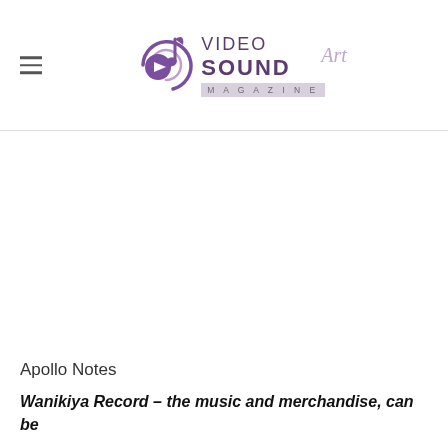VIDEO SOUND Art MAGAZINE
Apollo Notes
Wanikiya Record – the music and merchandise, can be